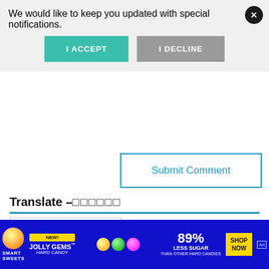We would like to keep you updated with special notifications.
I ACCEPT
I DECLINE
Submit Comment
Translate –
[Figure (screenshot): Google Translate widget with Select Language dropdown]
Signs & Symptoms
Amnesia
[Figure (screenshot): Advertisement banner for Smart Sweets Jolly Gems Hard Candy — 89% Less Sugar than other hard candies, Shop Now]